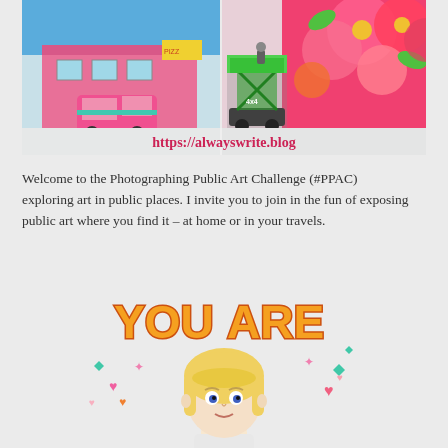[Figure (photo): Photo collage of two images: left shows a pink building with a pink van/car in front, colorful retro scene; right shows a green scissor lift platform near a colorful floral mural being painted. URL 'https://alwayswrite.blog' displayed below in pink/red text.]
Welcome to the Photographing Public Art Challenge (#PPAC) exploring art in public places. I invite you to join in the fun of exposing public art where you find it – at home or in your travels.
[Figure (illustration): Cartoon bitmoji-style illustration of a blonde woman with text 'YOU ARE' in large orange bubble letters above her head, with colorful sparkles and hearts around her.]